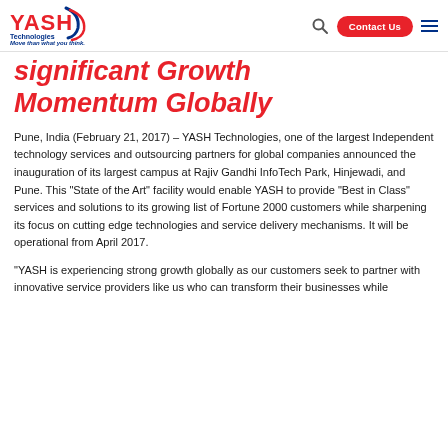YASH Technologies | Contact Us
significant Growth Momentum Globally
Pune, India (February 21, 2017) – YASH Technologies, one of the largest Independent technology services and outsourcing partners for global companies announced the inauguration of its largest campus at Rajiv Gandhi InfoTech Park, Hinjewadi, and Pune. This “State of the Art” facility would enable YASH to provide “Best in Class” services and solutions to its growing list of Fortune 2000 customers while sharpening its focus on cutting edge technologies and service delivery mechanisms. It will be operational from April 2017.
“YASH is experiencing strong growth globally as our customers seek to partner with innovative service providers like us who can transform their businesses while